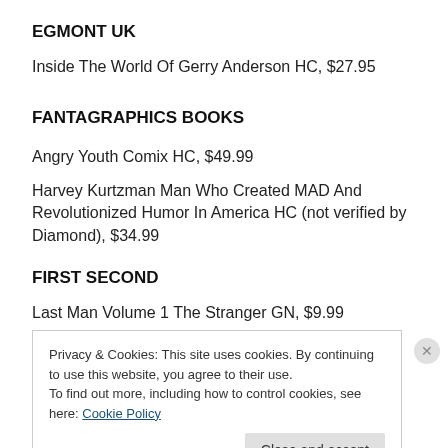EGMONT UK
Inside The World Of Gerry Anderson HC, $27.95
FANTAGRAPHICS BOOKS
Angry Youth Comix HC, $49.99
Harvey Kurtzman Man Who Created MAD And Revolutionized Humor In America HC (not verified by Diamond), $34.99
FIRST SECOND
Last Man Volume 1 The Stranger GN, $9.99
Privacy & Cookies: This site uses cookies. By continuing to use this website, you agree to their use.
To find out more, including how to control cookies, see here: Cookie Policy